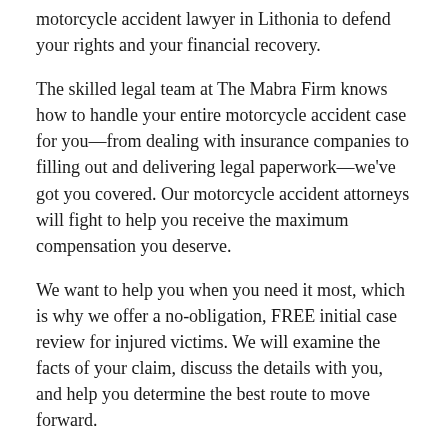motorcycle accident lawyer in Lithonia to defend your rights and your financial recovery.
The skilled legal team at The Mabra Firm knows how to handle your entire motorcycle accident case for you—from dealing with insurance companies to filling out and delivering legal paperwork—we've got you covered. Our motorcycle accident attorneys will fight to help you receive the maximum compensation you deserve.
We want to help you when you need it most, which is why we offer a no-obligation, FREE initial case review for injured victims. We will examine the facts of your claim, discuss the details with you, and help you determine the best route to move forward.
Give us a call at 404-344-5255 or fill out our easy online contact form to get started with your FREE consultation today! Below, we will look at why you